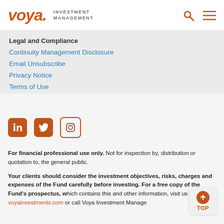Voya Investment Management
Legal and Compliance
Continuity Management Disclosure
Email Unsubscribe
Privacy Notice
Terms of Use
[Figure (logo): LinkedIn, Twitter, and Instagram social media icons]
For financial professional use only. Not for inspection by, distribution or quotation to, the general public.
Your clients should consider the investment objectives, risks, charges and expenses of the Fund carefully before investing. For a free copy of the Fund's prospectus, which contains this and other information, visit us at voyainvestments.com or call Voya Investment Management at 1 (800) 992-0180. Please instruct your clients to read the